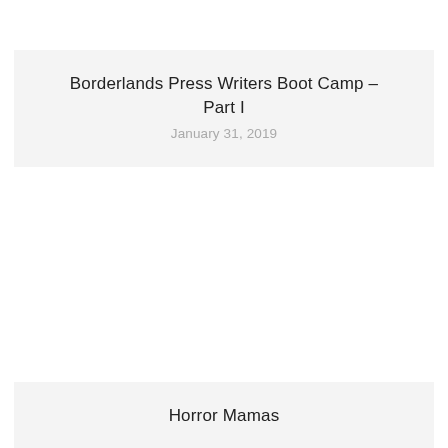Borderlands Press Writers Boot Camp – Part I
January 31, 2019
Horror Mamas